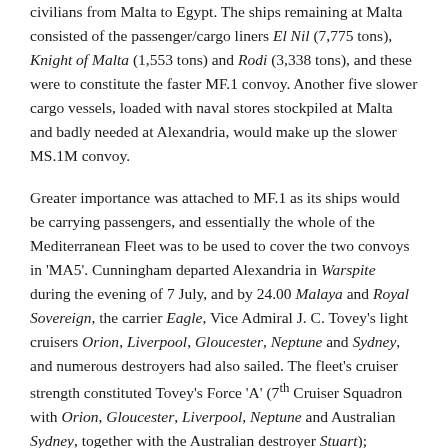civilians from Malta to Egypt. The ships remaining at Malta consisted of the passenger/cargo liners El Nil (7,775 tons), Knight of Malta (1,553 tons) and Rodi (3,338 tons), and these were to constitute the faster MF.1 convoy. Another five slower cargo vessels, loaded with naval stores stockpiled at Malta and badly needed at Alexandria, would make up the slower MS.1M convoy.
Greater importance was attached to MF.1 as its ships would be carrying passengers, and essentially the whole of the Mediterranean Fleet was to be used to cover the two convoys in 'MA5'. Cunningham departed Alexandria in Warspite during the evening of 7 July, and by 24.00 Malaya and Royal Sovereign, the carrier Eagle, Vice Admiral J. C. Tovey's light cruisers Orion, Liverpool, Gloucester, Neptune and Sydney, and numerous destroyers had also sailed. The fleet's cruiser strength constituted Tovey's Force 'A' (7th Cruiser Squadron with Orion, Gloucester, Liverpool, Neptune and Australian Sydney, together with the Australian destroyer Stuart); Cunningham's Force 'B' comprised